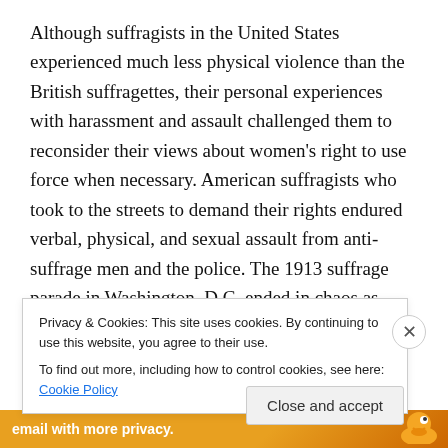Although suffragists in the United States experienced much less physical violence than the British suffragettes, their personal experiences with harassment and assault challenged them to reconsider their views about women's right to use force when necessary. American suffragists who took to the streets to demand their rights endured verbal, physical, and sexual assault from anti-suffrage men and the police. The 1913 suffrage parade in Washington, D.C. ended in chaos as spectators pushed their way into the streets, blocking the path of the floats
Privacy & Cookies: This site uses cookies. By continuing to use this website, you agree to their use.
To find out more, including how to control cookies, see here: Cookie Policy
Close and accept
email with more privacy.